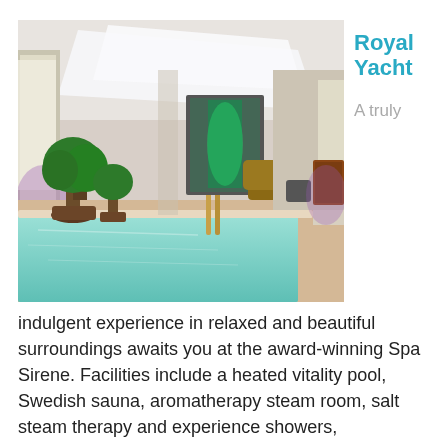[Figure (photo): Interior photo of a luxury hotel spa with an indoor heated swimming pool, large potted topiary trees, ambient purple lighting, lounge chairs, decorative wall panels, and a draped white fabric ceiling feature.]
Royal Yacht
A truly
indulgent experience in relaxed and beautiful surroundings awaits you at the award-winning Spa Sirene. Facilities include a heated vitality pool, Swedish sauna, aromatherapy steam room, salt steam therapy and experience showers,